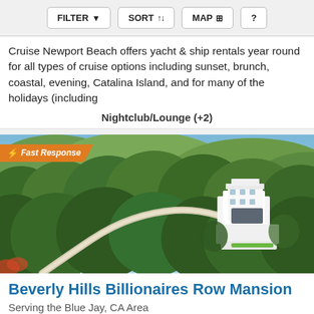FILTER  SORT  MAP  ?
Cruise Newport Beach offers yacht & ship rentals year round for all types of cruise options including sunset, brunch, coastal, evening, Catalina Island, and for many of the holidays (including
Nightclub/Lounge (+2)
[Figure (photo): Aerial drone photo of a large white mansion surrounded by dense green hillside trees and a winding driveway, in Beverly Hills / Blue Jay, CA area]
Beverly Hills Billionaires Row Mansion
Serving the Blue Jay, CA Area